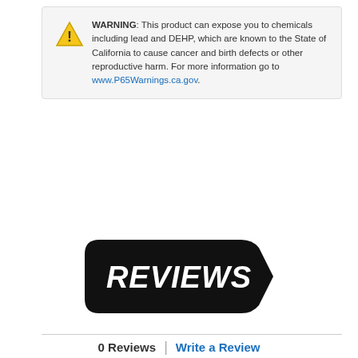WARNING: This product can expose you to chemicals including lead and DEHP, which are known to the State of California to cause cancer and birth defects or other reproductive harm. For more information go to www.P65Warnings.ca.gov.
[Figure (logo): REVIEWS logo — white italic bold text on a black rounded-left, arrow-right shaped badge]
0 Reviews | Write a Review